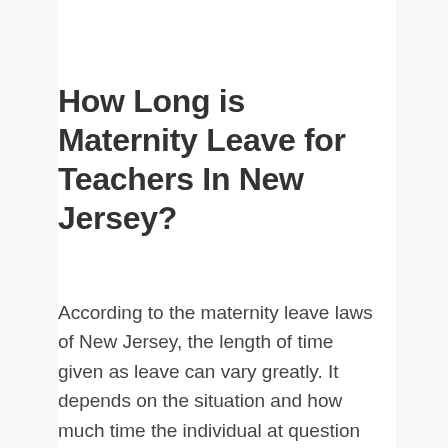How Long is Maternity Leave for Teachers In New Jersey?
According to the maternity leave laws of New Jersey, the length of time given as leave can vary greatly. It depends on the situation and how much time the individual at question would be physically incapable of attending to her regular work duties. The law allows for as much as 18 weeks of partially paid leave which can be